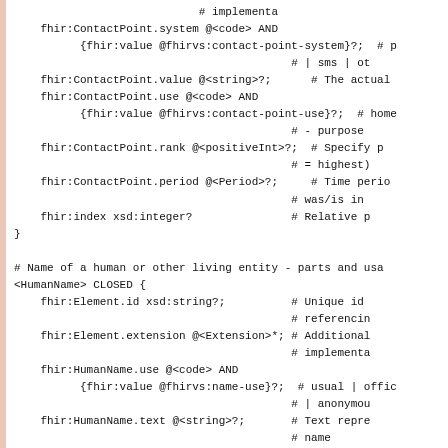FHIR ShEx schema code fragment showing ContactPoint and HumanName shape definitions